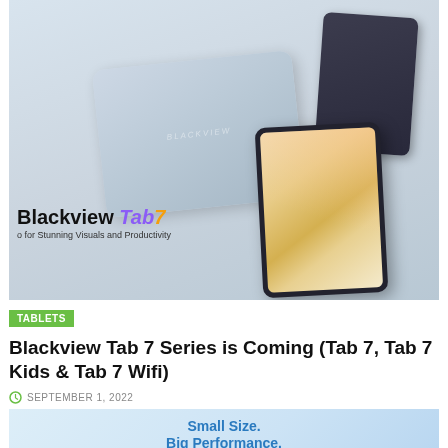[Figure (photo): Blackview Tab 7 promotional hero image showing multiple tablets — one large silver tablet from the back, one dark grey tablet, and one tablet showing a colorful screen — with branding text 'Blackview Tab7' and subtitle 'for Stunning Visuals and Productivity']
TABLETS
Blackview Tab 7 Series is Coming (Tab 7, Tab 7 Kids & Tab 7 Wifi)
SEPTEMBER 1, 2022
[Figure (photo): Partial second promotional image with light blue background and text 'Small Size. Big Performance.']